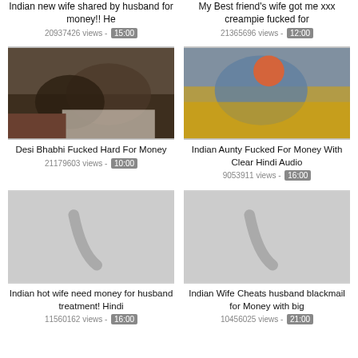Indian new wife shared by husband for money!! He
My Best friend's wife got me xxx creampie fucked for
20937426 views - 15:00
21365696 views - 12:00
[Figure (photo): Thumbnail of Desi Bhabhi video]
[Figure (photo): Thumbnail of Indian Aunty video]
Desi Bhabhi Fucked Hard For Money
Indian Aunty Fucked For Money With Clear Hindi Audio
21179603 views - 10:00
9053911 views - 16:00
[Figure (photo): Thumbnail placeholder gray]
[Figure (photo): Thumbnail placeholder gray]
Indian hot wife need money for husband treatment! Hindi
Indian Wife Cheats husband blackmail for Money with big
11560162 views - 16:00
10456025 views - 21:00